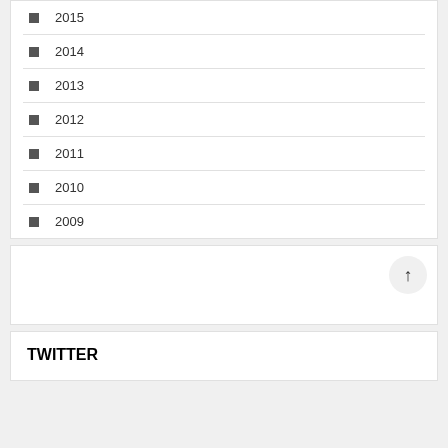2015
2014
2013
2012
2011
2010
2009
TWITTER